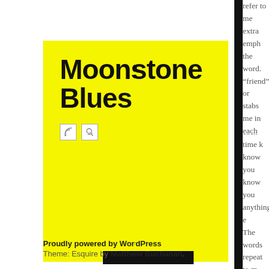[Figure (screenshot): Yellow card/logo for 'Moonstone Blues' website with RSS and search icons and a black navigation bar below]
Moonstone Blues
Proudly powered by WordPress
Theme: Esquire by Matthew Buchanan.
refer to me extra emph the word. “friend” or stabs me in each time k know you know you anything e The words repeat to m normal”, “ and “move deep inside don’t forge to want to affections, you, to wa life easier I can. Beli achieve th